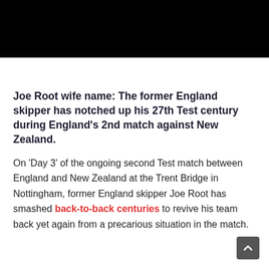[Figure (photo): Black image/video placeholder at top of page]
Joe Root wife name: The former England skipper has notched up his 27th Test century during England's 2nd match against New Zealand.
On 'Day 3' of the ongoing second Test match between England and New Zealand at the Trent Bridge in Nottingham, former England skipper Joe Root has smashed back-to-back centuries to revive his team back yet again from a precarious situation in the match.